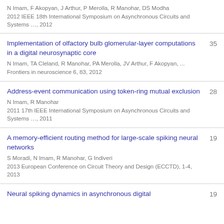N Imam, F Akopyan, J Arthur, P Merolla, R Manohar, DS Modha
2012 IEEE 18th International Symposium on Asynchronous Circuits and Systems …, 2012
Implementation of olfactory bulb glomerular-layer computations in a digital neurosynaptic core
N Imam, TA Cleland, R Manohar, PA Merolla, JV Arthur, F Akopyan, ...
Frontiers in neuroscience 6, 83, 2012
35
Address-event communication using token-ring mutual exclusion
N Imam, R Manohar
2011 17th IEEE International Symposium on Asynchronous Circuits and Systems …, 2011
28
A memory-efficient routing method for large-scale spiking neural networks
S Moradi, N Imam, R Manohar, G Indiveri
2013 European Conference on Circuit Theory and Design (ECCTD), 1-4, 2013
19
Neural spiking dynamics in asynchronous digital
19